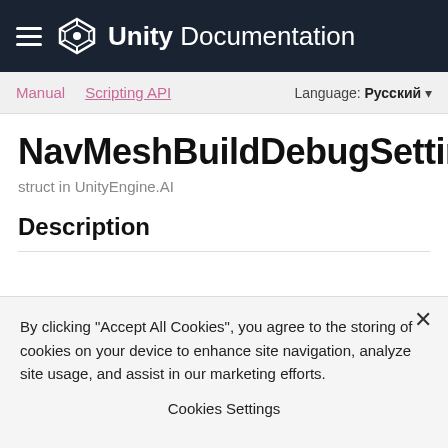Unity Documentation
Manual | Scripting API | Language: Русский
NavMeshBuildDebugSettings
struct in UnityEngine.AI
Description
By clicking "Accept All Cookies", you agree to the storing of cookies on your device to enhance site navigation, analyze site usage, and assist in our marketing efforts.
Cookies Settings